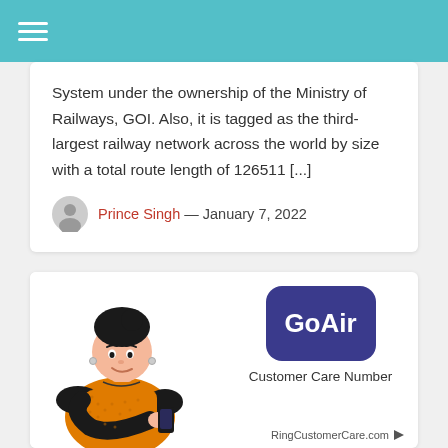Navigation menu (hamburger icon)
System under the ownership of the Ministry of Railways, GOI. Also, it is tagged as the third-largest railway network across the world by size with a total route length of 126511 [...]
Prince Singh — January 7, 2022
[Figure (illustration): Promotional banner showing a cartoon woman using a phone, with GoAir logo and text 'Customer Care Number' and 'RingCustomerCare.com' at the bottom right.]